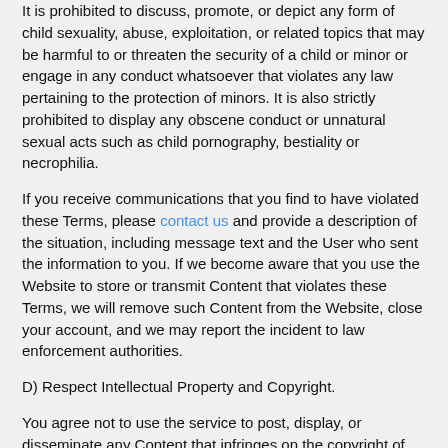It is prohibited to discuss, promote, or depict any form of child sexuality, abuse, exploitation, or related topics that may be harmful to or threaten the security of a child or minor or engage in any conduct whatsoever that violates any law pertaining to the protection of minors. It is also strictly prohibited to display any obscene conduct or unnatural sexual acts such as child pornography, bestiality or necrophilia.
If you receive communications that you find to have violated these Terms, please contact us and provide a description of the situation, including message text and the User who sent the information to you. If we become aware that you use the Website to store or transmit Content that violates these Terms, we will remove such Content from the Website, close your account, and we may report the incident to law enforcement authorities.
D) Respect Intellectual Property and Copyright.
You agree not to use the service to post, display, or disseminate any Content that infringes on the copyright of any other individual, entity, or interest. You warrant that for any Content you post, display or disseminate:
1. You own the Content posted by you on or through the Service, or that you otherwise have the right to the...